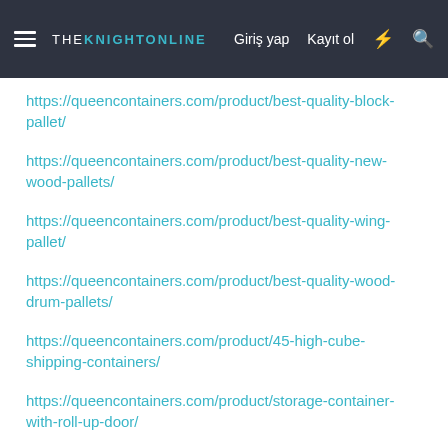THE KNIGHTONLINE | Giriş yap | Kayıt ol
https://queencontainers.com/product/best-quality-block-pallet/
https://queencontainers.com/product/best-quality-new-wood-pallets/
https://queencontainers.com/product/best-quality-wing-pallet/
https://queencontainers.com/product/best-quality-wood-drum-pallets/
https://queencontainers.com/product/45-high-cube-shipping-containers/
https://queencontainers.com/product/storage-container-with-roll-up-door/
https://queencontainers.com/product/shipping-container-sizes/